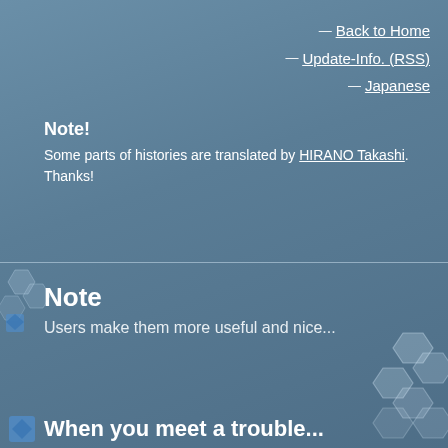— Back to Home
— Update-Info. (RSS)
— Japanese
Note!
Some parts of histories are translated by HIRANO Takashi.
Thanks!
Note
Users make them more useful and nice...
When you meet a trouble...